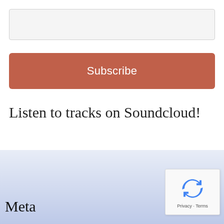[Figure (other): Empty input text field with light gray background]
Subscribe
Listen to tracks on Soundcloud!
Meta
[Figure (other): reCAPTCHA widget showing recycle arrows icon with Privacy · Terms text below]